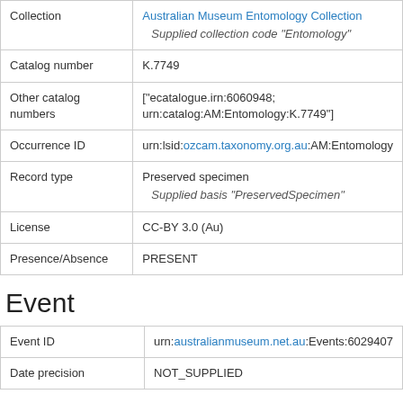| Field | Value |
| --- | --- |
| Collection | Australian Museum Entomology Collection
  Supplied collection code "Entomology" |
| Catalog number | K.7749 |
| Other catalog numbers | ["ecatalogue.irn:6060948; urn:catalog:AM:Entomology:K.7749"] |
| Occurrence ID | urn:lsid:ozcam.taxonomy.org.au:AM:Entomology |
| Record type | Preserved specimen
  Supplied basis "PreservedSpecimen" |
| License | CC-BY 3.0 (Au) |
| Presence/Absence | PRESENT |
Event
| Field | Value |
| --- | --- |
| Event ID | urn:australianmuseum.net.au:Events:6029407 |
| Date precision | NOT_SUPPLIED |
Taxonomy